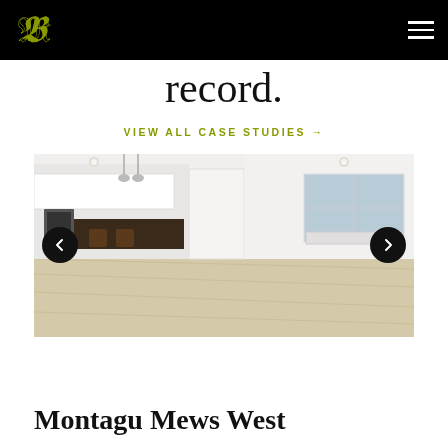record.
VIEW ALL CASE STUDIES →
[Figure (photo): Interior photo of a modern open-plan apartment with white walls, light wood flooring, a kitchen area with bar stools, pendant lights and a living area with large window. Left and right navigation arrows visible.]
Montagu Mews West